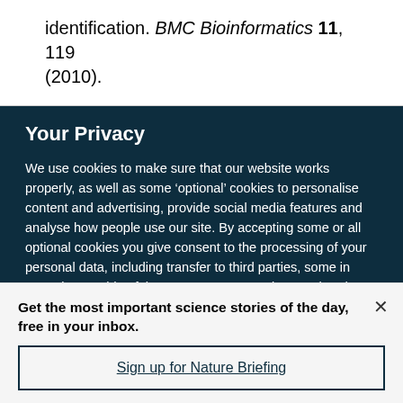identification. BMC Bioinformatics 11, 119 (2010).
Your Privacy
We use cookies to make sure that our website works properly, as well as some ‘optional’ cookies to personalise content and advertising, provide social media features and analyse how people use our site. By accepting some or all optional cookies you give consent to the processing of your personal data, including transfer to third parties, some in countries outside of the European Economic Area that do not offer the same data protection standards as the country where you live. You can decide which optional cookies to accept by clicking on ‘Manage Settings’, where you can
Get the most important science stories of the day, free in your inbox.
Sign up for Nature Briefing